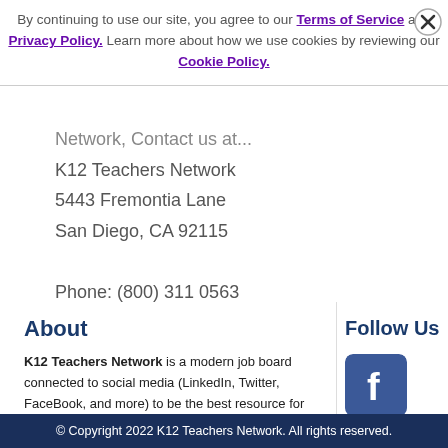By continuing to use our site, you agree to our Terms of Service and Privacy Policy. Learn more about how we use cookies by reviewing our Cookie Policy.
Network, Contact us at...
K12 Teachers Network
5443 Fremontia Lane
San Diego, CA 92115

Phone: (800) 311 0563
About
K12 Teachers Network is a modern job board connected to social media (LinkedIn, Twitter, FaceBook, and more) to be the best resource for top schools seeking educational leadership.
Follow Us
[Figure (logo): Facebook icon - blue rounded square with white 'f' letter]
[Figure (logo): Twitter icon - light blue rounded square with white bird/letter 't']
© Copyright 2022 K12 Teachers Network. All rights reserved.